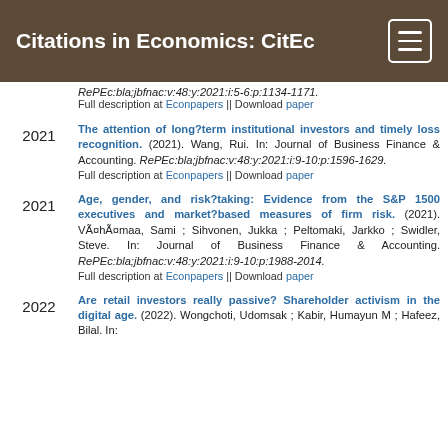Citations in Economics: CitEc
RePEc:bla;jbfnac:v:48:y:2021:i:5-6:p:1134-1171. Full description at Econpapers || Download paper
The attention of long?term institutional investors and timely loss recognition. (2021). Wang, Rui. In: Journal of Business Finance & Accounting. RePEc:bla;jbfnac:v:48:y:2021:i:9-10:p:1596-1629. Full description at Econpapers || Download paper
Age, gender, and risk?taking: Evidence from the S&P 1500 executives and market?based measures of firm risk. (2021). VÃ¤hÃ¤maa, Sami ; Sihvonen, Jukka ; Peltomaki, Jarkko ; Swidler, Steve. In: Journal of Business Finance & Accounting. RePEc:bla;jbfnac:v:48:y:2021:i:9-10:p:1988-2014. Full description at Econpapers || Download paper
Are retail investors really passive? Shareholder activism in the digital age. (2022). Wongchoti, Udomsak ; Kabir, Humayun M ; Hafeez, Bilal. In: Journal of Business Finance & Accounting.